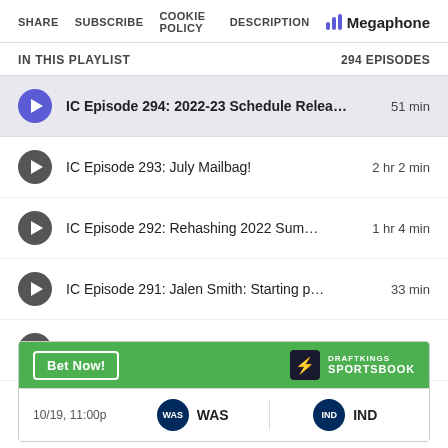SHARE  SUBSCRIBE  COOKIE POLICY  DESCRIPTION  Megaphone
IN THIS PLAYLIST  294 EPISODES
IC Episode 294: 2022-23 Schedule Relea…  51 min
IC Episode 293: July Mailbag!  2 hr 2 min
IC Episode 292: Rehashing 2022 Sum… 1 hr 4 min
IC Episode 291: Jalen Smith: Starting p…  33 min
IC Episode 290: Malcolm Brogdon trad…  49 min
[Figure (screenshot): DraftKings Sportsbook ad banner with Bet Now button and WAS vs IND matchup on 10/19, 11:00p]